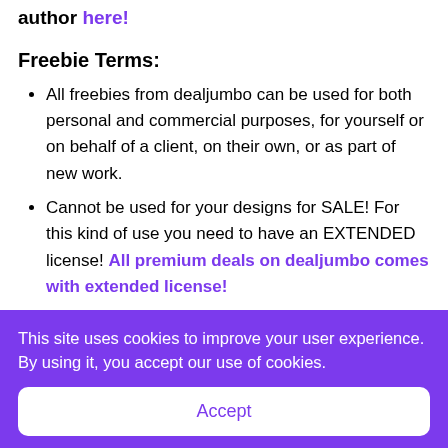author here!
Freebie Terms:
All freebies from dealjumbo can be used for both personal and commercial purposes, for yourself or on behalf of a client, on their own, or as part of new work.
Cannot be used for your designs for SALE! For this kind of use you need to have an EXTENDED license! All premium deals on dealjumbo comes with extended license!
Cannot be sublicensed, resold, shared, transferred, or otherwise redistributed on its own.
This site uses cookies to improve your user experience. By using it, you accept our use of cookies.
Accept